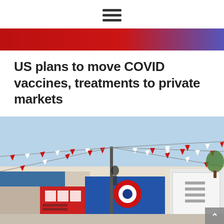☰ (hamburger menu icon)
[Figure (photo): A cropped photo showing a red gradient background transitioning to blue/purple on the right, appearing to be a close-up of COVID vaccine vials or related medical imagery.]
US plans to move COVID vaccines, treatments to private markets
[Figure (photo): A street scene in Taiwan showing a building decorated with many red and white triangular flags/bunting strung across the street. The building has Chinese characters on its signage. A Taiwan national flag with sun emblem is visible on a blue banner. A person stands near an electrical pole. The scene has a festive, crowded atmosphere typical of Taiwanese street celebrations.]